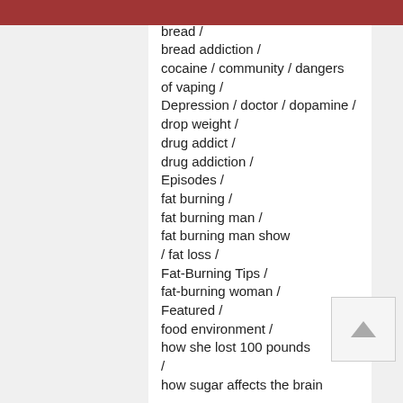/ bariatric surgery /
bread /
bread addiction /
cocaine / community / dangers of vaping /
Depression / doctor / dopamine /
drop weight /
drug addict /
drug addiction /
Episodes /
fat burning /
fat burning man /
fat burning man show
/ fat loss /
Fat-Burning Tips /
fat-burning woman /
Featured /
food environment /
how she lost 100 pounds /
how sugar affects the brain